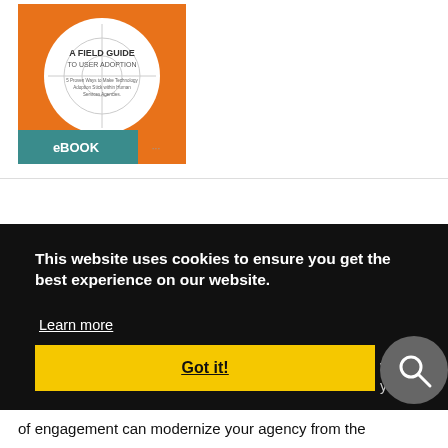[Figure (illustration): eBook cover: orange background with white circle containing compass/crosshair graphic, text 'A FIELD GUIDE TO USER ADOPTION', subtitle '5 Proven Ways to Make Technology Adoption Stick within Human Services Agencies', with teal banner at bottom reading 'eBOOK']
This website uses cookies to ensure you get the best experience on our website.
Learn more
Got it!
of engagement can modernize your agency from the